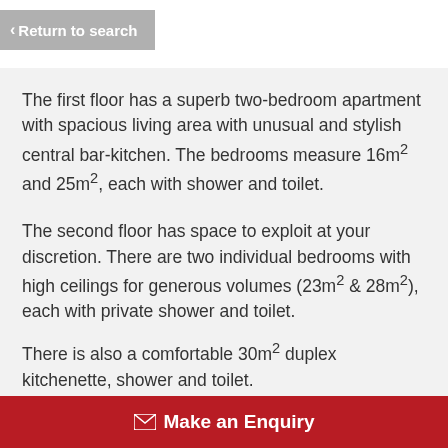< Return to search
The first floor has a superb two-bedroom apartment with spacious living area with unusual and stylish central bar-kitchen. The bedrooms measure 16m² and 25m², each with shower and toilet.
The second floor has space to exploit at your discretion. There are two individual bedrooms with high ceilings for generous volumes (23m² & 28m²), each with private shower and toilet.
There is also a comfortable 30m² duplex kitchenette, shower and toilet.
✉ Make an Enquiry